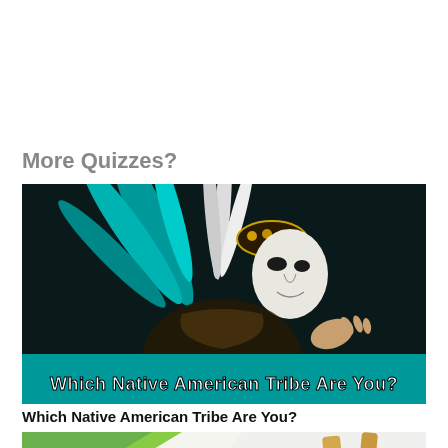More Quizzes?
[Figure (photo): A person wearing a Native American headdress with teal and black feathers, face painted white, with dark background. Overlaid text at bottom reads 'Which Native American Tribe Are You?' in white bold font on a teal banner.]
Which Native American Tribe Are You?
[Figure (photo): Partial view of colorful cards or game pieces on a surface, partially cropped at page bottom.]